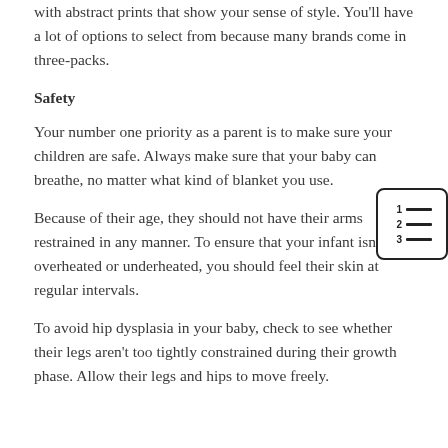with abstract prints that show your sense of style. You'll have a lot of options to select from because many brands come in three-packs.
Safety
Your number one priority as a parent is to make sure your children are safe. Always make sure that your baby can breathe, no matter what kind of blanket you use.
[Figure (illustration): A numbered list icon inside a rounded rectangle, showing three rows each with a number (1, 2, 3) and horizontal lines.]
Because of their age, they should not have their arms restrained in any manner. To ensure that your infant isn't overheated or underheated, you should feel their skin at regular intervals.
To avoid hip dysplasia in your baby, check to see whether their legs aren't too tightly constrained during their growth phase. Allow their legs and hips to move freely.